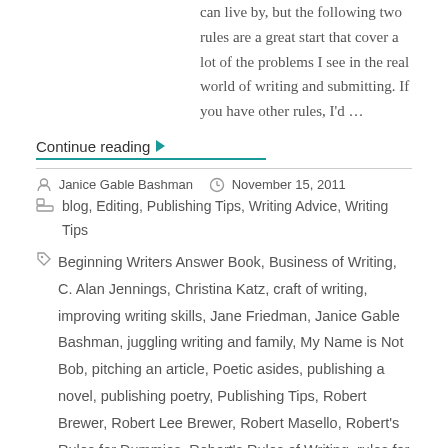can live by, but the following two rules are a great start that cover a lot of the problems I see in the real world of writing and submitting. If you have other rules, I'd …
Continue reading ▶
Janice Gable Bashman   November 15, 2011
blog, Editing, Publishing Tips, Writing Advice, Writing Tips
Beginning Writers Answer Book, Business of Writing, C. Alan Jennings, Christina Katz, craft of writing, improving writing skills, Jane Friedman, Janice Gable Bashman, juggling writing and family, My Name is Not Bob, pitching an article, Poetic asides, publishing a novel, publishing poetry, Publishing Tips, Robert Brewer, Robert Lee Brewer, Robert Masello, Robert's Rules for Dummies, Robert's Rules of Writing, rules for successful writers, rules for writers to follow, submission rules, submitting a story, submitting writing, successful writers, The Elements of Style, tips for writers, Writer Mama, Writer's